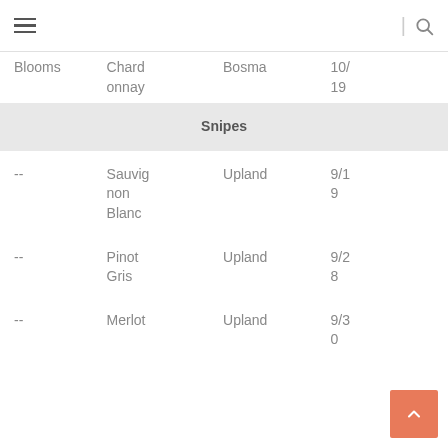≡ | 🔍
| Blooms | Chardonnay | Bosma | 10/19 |  |
| Snipes |  |  |  |  |
| -- | Sauvignon Blanc | Upland | 9/19 |  |
| -- | Pinot Gris | Upland | 9/28 |  |
| -- | Merlot | Upland | 9/30 |  |